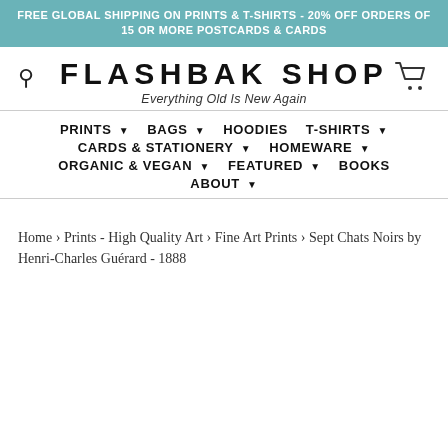FREE GLOBAL SHIPPING ON PRINTS & T-SHIRTS - 20% OFF ORDERS OF 15 OR MORE POSTCARDS & CARDS
FLASHBAK SHOP
Everything Old Is New Again
PRINTS BAGS HOODIES T-SHIRTS CARDS & STATIONERY HOMEWARE ORGANIC & VEGAN FEATURED BOOKS ABOUT
Home › Prints - High Quality Art › Fine Art Prints › Sept Chats Noirs by Henri-Charles Guérard - 1888